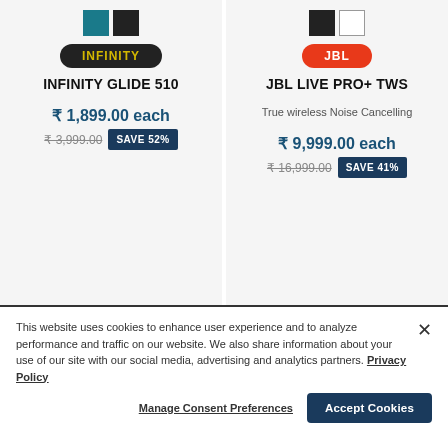[Figure (screenshot): Color swatches for Infinity Glide 510: teal and black squares]
[Figure (screenshot): Color swatches for JBL Live Pro+ TWS: black and white squares]
INFINITY
JBL
INFINITY GLIDE 510
JBL LIVE PRO+ TWS
True wireless Noise Cancelling
₹ 1,899.00 each
₹ 3,999.00  SAVE 52%
₹ 9,999.00 each
₹ 16,999.00  SAVE 41%
This website uses cookies to enhance user experience and to analyze performance and traffic on our website. We also share information about your use of our site with our social media, advertising and analytics partners. Privacy Policy
Manage Consent Preferences
Accept Cookies